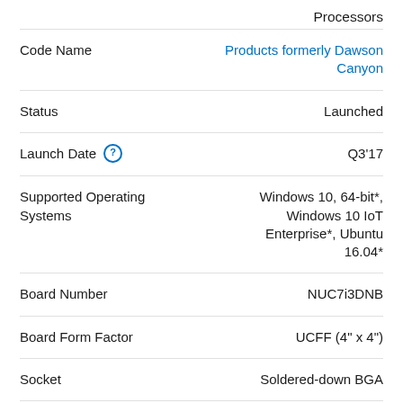Processors
Code Name | Products formerly Dawson Canyon
Status | Launched
Launch Date | Q3'17
Supported Operating Systems | Windows 10, 64-bit*, Windows 10 IoT Enterprise*, Ubuntu 16.04*
Board Number | NUC7i3DNB
Board Form Factor | UCFF (4" x 4")
Socket | Soldered-down BGA
Internal Drive Form Factor | M.2 SSD